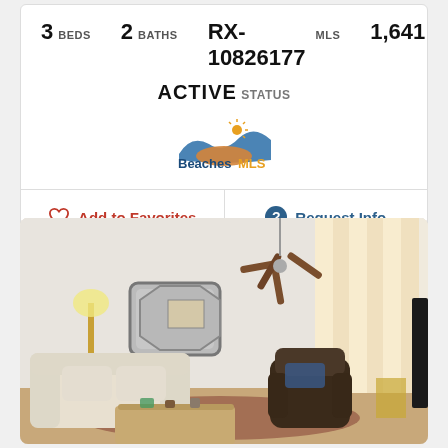3 BEDS  2 BATHS  RX-10826177 MLS  1,641 SQFT.
ACTIVE STATUS
[Figure (logo): Beaches MLS logo with wave and sun icon]
Add to Favorites
Request Info
[Figure (photo): Interior photo of a living room with white/cream sofas, a wooden coffee table, a dark leather recliner, an octagonal mirror on the wall, a ceiling fan, white curtains on the right, and a floor lamp on the left.]